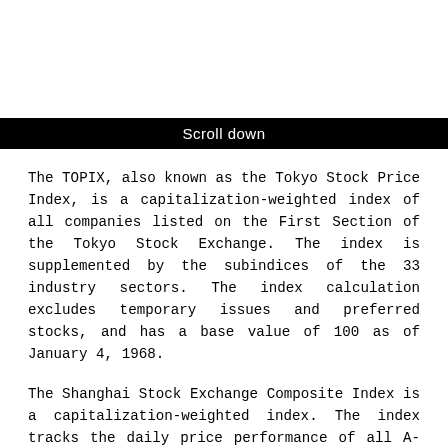Scroll down
The TOPIX, also known as the Tokyo Stock Price Index, is a capitalization-weighted index of all companies listed on the First Section of the Tokyo Stock Exchange. The index is supplemented by the subindices of the 33 industry sectors. The index calculation excludes temporary issues and preferred stocks, and has a base value of 100 as of January 4, 1968.
The Shanghai Stock Exchange Composite Index is a capitalization-weighted index. The index tracks the daily price performance of all A-shares and B-shares listed on the Shanghai Stock Exchange. The index was developed on December 19, 1990 with a base value of 100. Index trade